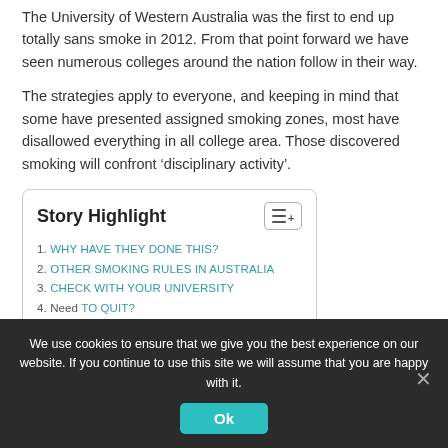The University of Western Australia was the first to end up totally sans smoke in 2012. From that point forward we have seen numerous colleges around the nation follow in their way.
The strategies apply to everyone, and keeping in mind that some have presented assigned smoking zones, most have disallowed everything in all college area. Those discovered smoking will confront ‘disciplinary activity’.
Story Highlight
1. WHY HAVE THEY DONE THIS?
2. OTHER SMOKING RULES IN AUSTRALIA
3. CHECK WITH YOUR UNIVERSITY
4. Need TO QUIT?
We use cookies to ensure that we give you the best experience on our website. If you continue to use this site we will assume that you are happy with it.